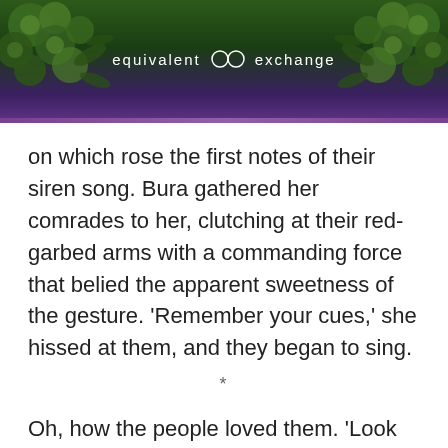[Figure (illustration): Website header banner with dark green and purple gradient background, decorative green floral/rosette elements in top corners, and centered white text reading 'equivalent exchange' with a double-circle logo]
on which rose the first notes of their siren song. Bura gathered her comrades to her, clutching at their red-garbed arms with a commanding force that belied the apparent sweetness of the gesture. 'Remember your cues,' she hissed at them, and they began to sing.
*
Oh, how the people loved them. 'Look at the dancing Russian grannies!' they cried, squealing into their hands as the Eurovision frenzy lifted their spirits into a fervour. 'How